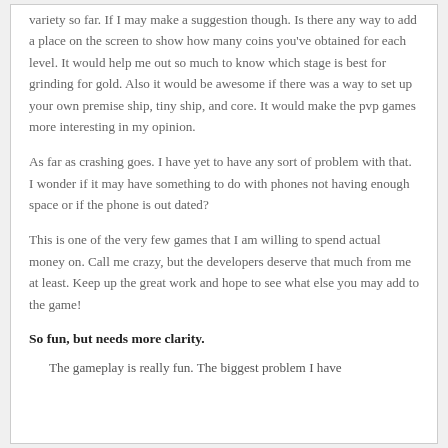variety so far. If I may make a suggestion though. Is there any way to add a place on the screen to show how many coins you've obtained for each level. It would help me out so much to know which stage is best for grinding for gold. Also it would be awesome if there was a way to set up your own premise ship, tiny ship, and core. It would make the pvp games more interesting in my opinion.
As far as crashing goes. I have yet to have any sort of problem with that. I wonder if it may have something to do with phones not having enough space or if the phone is out dated?
This is one of the very few games that I am willing to spend actual money on. Call me crazy, but the developers deserve that much from me at least. Keep up the great work and hope to see what else you may add to the game!
So fun, but needs more clarity.
The gameplay is really fun. The biggest problem I have